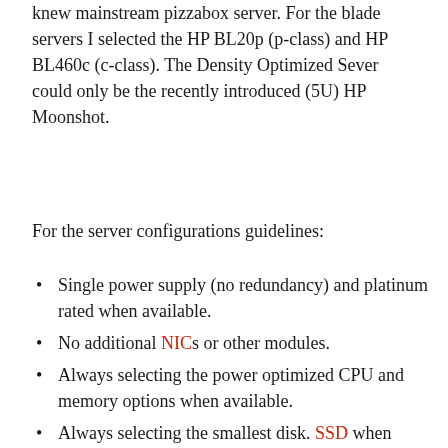knew mainstream pizzabox server. For the blade servers I selected the HP BL20p (p-class) and HP BL460c (c-class). The Density Optimized Sever could only be the recently introduced (5U) HP Moonshot.
For the server configurations guidelines:
Single power supply (no redundancy) and platinum rated when available.
No additional NICs or other modules.
Always selecting the power optimized CPU and memory options when available.
Always selecting the smallest disk. SSD when available.
Blade servers enclosures
Pass-through devices, no active SAN/LAN switches in the enclosures
No redundancy and onboard management